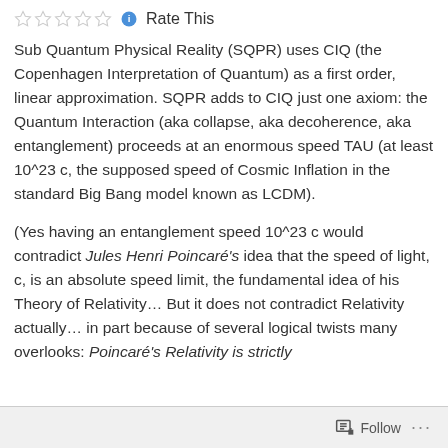Rate This
Sub Quantum Physical Reality (SQPR) uses CIQ (the Copenhagen Interpretation of Quantum) as a first order, linear approximation. SQPR adds to CIQ just one axiom: the Quantum Interaction (aka collapse, aka decoherence, aka entanglement) proceeds at an enormous speed TAU (at least 10^23 c, the supposed speed of Cosmic Inflation in the standard Big Bang model known as LCDM).
(Yes having an entanglement speed 10^23 c would contradict Jules Henri Poincaré's idea that the speed of light, c, is an absolute speed limit, the fundamental idea of his Theory of Relativity… But it does not contradict Relativity actually… in part because of several logical twists many overlooks: Poincaré's Relativity is strictly
Follow